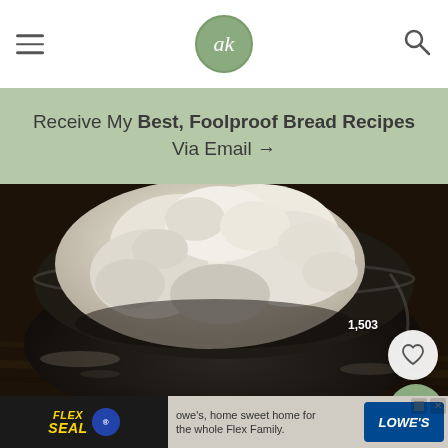ak (logo)
Receive My Best, Foolproof Bread Recipes Via Email →
[Figure (photo): Shaggy bread dough in a dark mixing bowl on a wooden surface, close-up overhead shot. A heart/like button with count 1,503 and a search button are overlaid on the photo.]
[Figure (other): Advertisement banner: Flex Seal product ad alongside Lowe's 'home sweet home for the whole Flex Family' advertisement with close and skip buttons.]